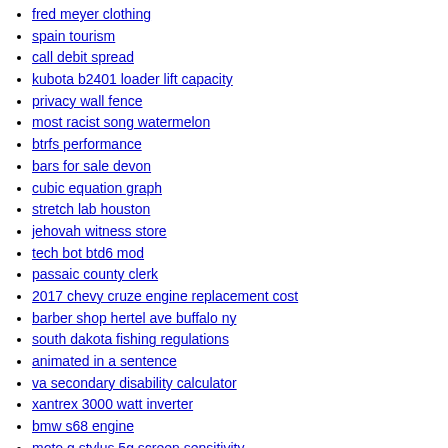fred meyer clothing
spain tourism
call debit spread
kubota b2401 loader lift capacity
privacy wall fence
most racist song watermelon
btrfs performance
bars for sale devon
cubic equation graph
stretch lab houston
jehovah witness store
tech bot btd6 mod
passaic county clerk
2017 chevy cruze engine replacement cost
barber shop hertel ave buffalo ny
south dakota fishing regulations
animated in a sentence
va secondary disability calculator
xantrex 3000 watt inverter
bmw s68 engine
moto g stylus 5g screen sensitivity
wwe 2k22 dlc
john ramsey crimecon
best muscle pain relief cream
audio tone control